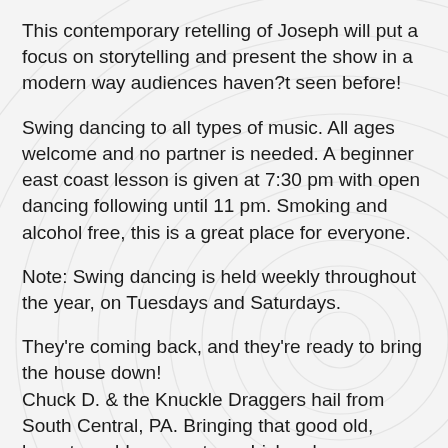This contemporary retelling of Joseph will put a focus on storytelling and present the show in a modern way audiences haven?t seen before!
Swing dancing to all types of music. All ages welcome and no partner is needed. A beginner east coast lesson is given at 7:30 pm with open dancing following until 11 pm. Smoking and alcohol free, this is a great place for everyone.
Note: Swing dancing is held weekly throughout the year, on Tuesdays and Saturdays.
They're coming back, and they're ready to bring the house down!
Chuck D. & the Knuckle Draggers hail from South Central, PA. Bringing that good old, hometown bluegrass to an Irish pub near you. Grab a pint and enjoy your time at the GO.
*Masks must be worn anytime you are not seated at your